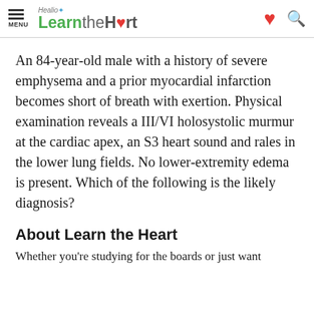MENU | Healio Learn the Heart
An 84-year-old male with a history of severe emphysema and a prior myocardial infarction becomes short of breath with exertion. Physical examination reveals a III/VI holosystolic murmur at the cardiac apex, an S3 heart sound and rales in the lower lung fields. No lower-extremity edema is present. Which of the following is the likely diagnosis?
About Learn the Heart
Whether you're studying for the boards or just want